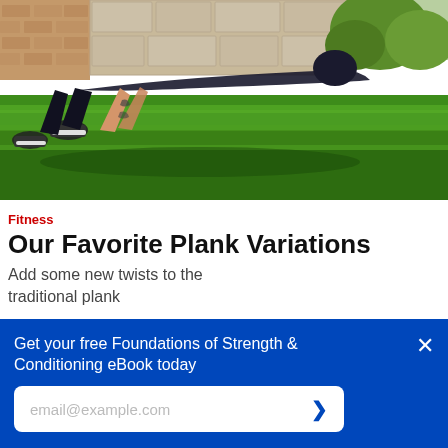[Figure (photo): Person with tattoos doing a plank exercise on green grass outdoors, low angle view, brick wall and garden lamp in background]
Fitness
Our Favorite Plank Variations
Add some new twists to the traditional plank
[Figure (photo): Partial view of another fitness/exercise image, darker with red and grey tones]
Get your free Foundations of Strength & Conditioning eBook today
email@example.com